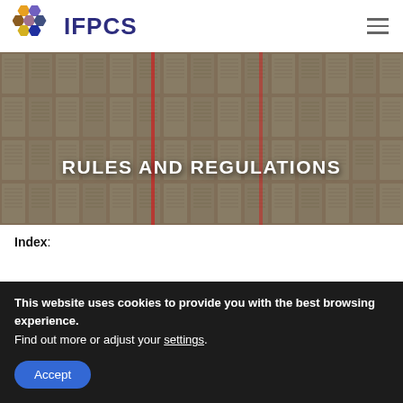[Figure (logo): IFPCS logo with colorful hexagon cells and bold text IFPCS]
[Figure (photo): Hero banner showing stacked open books pages as background with overlay text RULES AND REGULATIONS]
RULES AND REGULATIONS
Index:
This website uses cookies to provide you with the best browsing experience.
Find out more or adjust your settings.